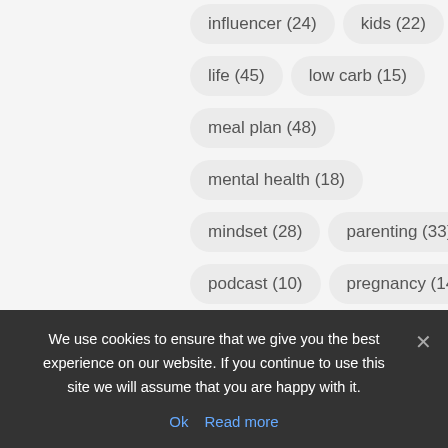influencer (24)
kids (22)
life (45)
low carb (15)
meal plan (48)
mental health (18)
mindset (28)
parenting (33)
podcast (10)
pregnancy (14)
protein (23)
protein powder (16)
We use cookies to ensure that we give you the best experience on our website. If you continue to use this site we will assume that you are happy with it.
Ok  Read more